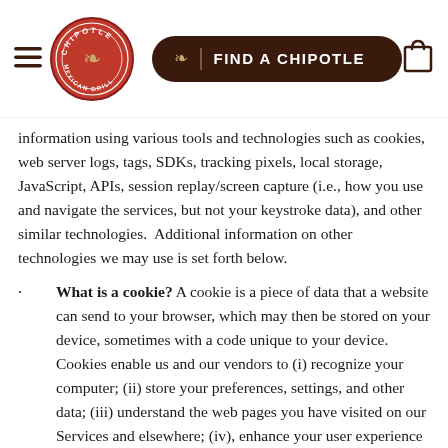[Figure (logo): Chipotle Mexican Grill header navigation bar with hamburger menu, circular logo, 'FIND A CHIPOTLE' button in dark brown, and shopping bag icon]
information using various tools and technologies such as cookies, web server logs, tags, SDKs, tracking pixels, local storage, JavaScript, APIs, session replay/screen capture (i.e., how you use and navigate the services, but not your keystroke data), and other similar technologies.  Additional information on other technologies we may use is set forth below.
· What is a cookie? A cookie is a piece of data that a website can send to your browser, which may then be stored on your device, sometimes with a code unique to your device. Cookies enable us and our vendors to (i) recognize your computer; (ii) store your preferences, settings, and other data; (iii) understand the web pages you have visited on our Services and elsewhere; (iv), enhance your user experience by delivering and measuring the effectiveness of content and advertising tailored to your interests; (v) perform searches and analytics; and (vi) assist